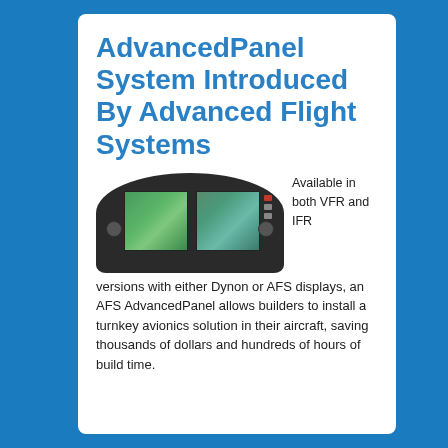AdvancedPanel System Introduced By Advanced Flight Systems
[Figure (photo): Aircraft avionics panel with two screens (green flight display and map display) in a curved panel housing with knobs and buttons]
Available in both VFR and IFR versions with either Dynon or AFS displays, an AFS AdvancedPanel allows builders to install a turnkey avionics solution in their aircraft, saving thousands of dollars and hundreds of hours of build time.